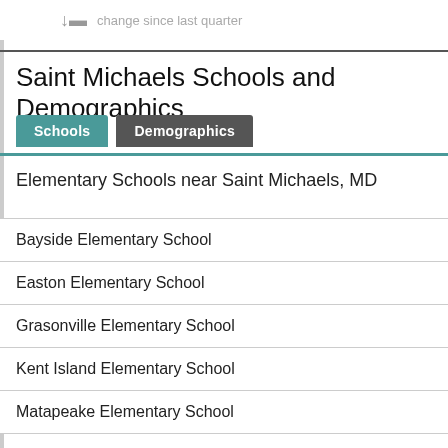change since last quarter
Saint Michaels Schools and Demographics
Elementary Schools near Saint Michaels, MD
Bayside Elementary School
Easton Elementary School
Grasonville Elementary School
Kent Island Elementary School
Matapeake Elementary School